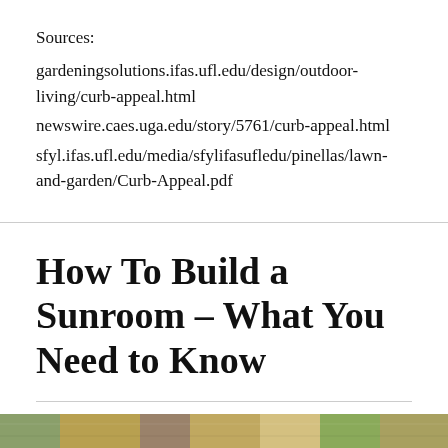Sources:
gardeningsolutions.ifas.ufl.edu/design/outdoor-living/curb-appeal.html
newswire.caes.uga.edu/story/5761/curb-appeal.html
sfyl.ifas.ufl.edu/media/sfylifasufledu/pinellas/lawn-and-garden/Curb-Appeal.pdf
How To Build a Sunroom – What You Need to Know
TRISH
[Figure (photo): Partial image strip at bottom of page showing outdoor/garden scene]